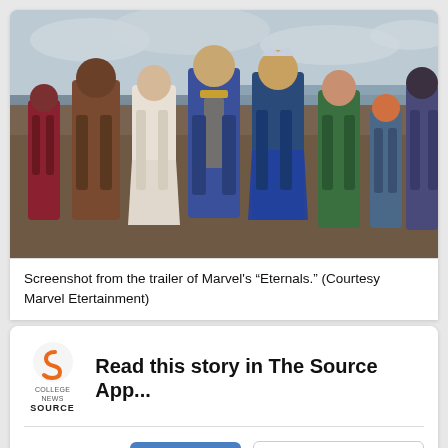[Figure (photo): Screenshot from the trailer of Marvel's Eternals showing a group of costumed superheroes standing on a beach with ocean and cloudy sky in background. Nine characters in various colorful superhero costumes are posed in a line.]
Screenshot from the trailer of Marvel's “Eternals.” (Courtesy Marvel Etertainment)
Read this story in The Source App...